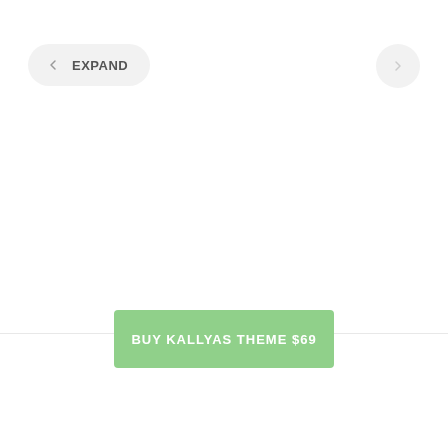[Figure (screenshot): Navigation UI with EXPAND button (left arrow + EXPAND text in pill shape) on top left, and a right arrow circle button on top right]
BUY KALLYAS THEME $69